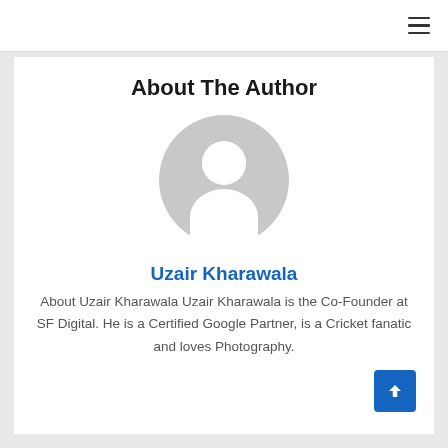≡
About The Author
[Figure (illustration): Generic grey avatar icon — silhouette of a person inside a circle]
Uzair Kharawala
About Uzair Kharawala Uzair Kharawala is the Co-Founder at SF Digital. He is a Certified Google Partner, is a Cricket fanatic and loves Photography.